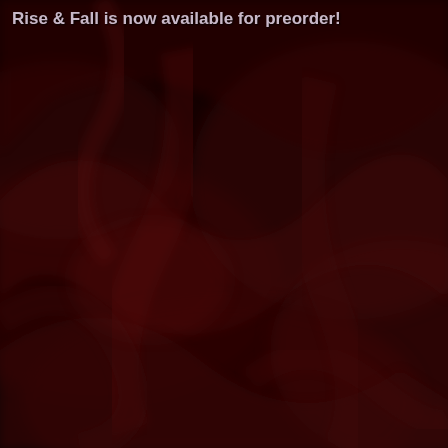[Figure (photo): Dark crimson red background with flowing fabric-like organic shapes and folds, creating a dramatic deep red textured surface.]
Rise & Fall is now available for preorder!